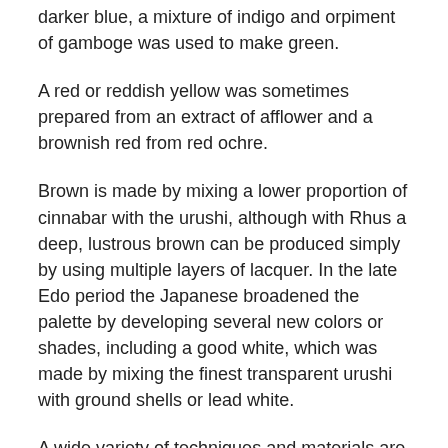darker blue, a mixture of indigo and orpiment of gamboge was used to make green.
A red or reddish yellow was sometimes prepared from an extract of afflower and a brownish red from red ochre.
Brown is made by mixing a lower proportion of cinnabar with the urushi, although with Rhus a deep, lustrous brown can be produced simply by using multiple layers of lacquer. In the late Edo period the Japanese broadened the palette by developing several new colors or shades, including a good white, which was made by mixing the finest transparent urushi with ground shells or lead white.
A wide variety of techniques and materials are utilized in the manufacture of urushi ware, but since the majority differ only in final finish, they are usually treated in seven major groups: carved, incised, inlaid, sprinkled, painted, dry, and gilt.
Two or more techniques may be used on the same object,